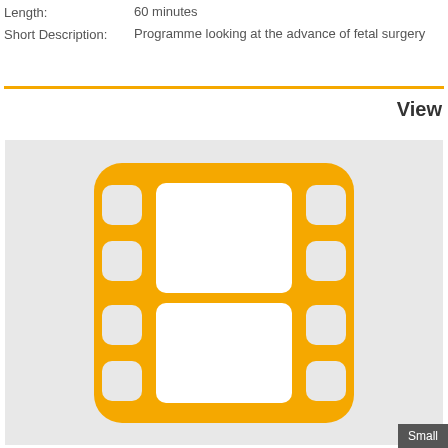Length: 60 minutes
Short Description: Programme looking at the advance of fetal surgery
View
[Figure (illustration): Film reel / video icon in orange/yellow color on a light grey background, representing a video placeholder thumbnail]
Small